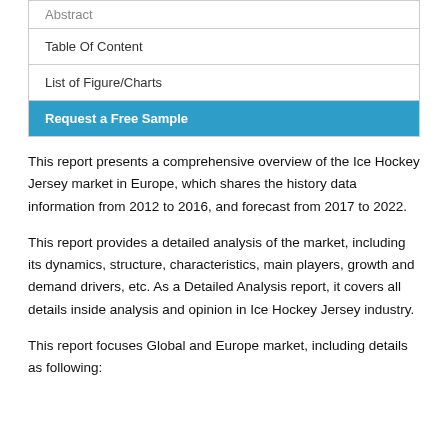Abstract
Table Of Content
List of Figure/Charts
Request a Free Sample
This report presents a comprehensive overview of the Ice Hockey Jersey market in Europe, which shares the history data information from 2012 to 2016, and forecast from 2017 to 2022.
This report provides a detailed analysis of the market, including its dynamics, structure, characteristics, main players, growth and demand drivers, etc. As a Detailed Analysis report, it covers all details inside analysis and opinion in Ice Hockey Jersey industry.
This report focuses Global and Europe market, including details as following: